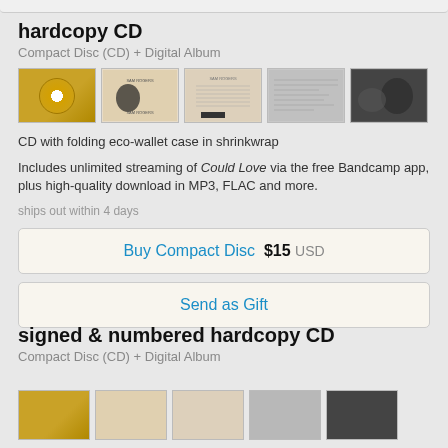hardcopy CD
Compact Disc (CD) + Digital Album
[Figure (photo): Five thumbnail images of CD product: disc, front cover, back cover, booklet, and artist photo]
CD with folding eco-wallet case in shrinkwrap
Includes unlimited streaming of Could Love via the free Bandcamp app, plus high-quality download in MP3, FLAC and more.
ships out within 4 days
Buy Compact Disc  $15 USD
Send as Gift
signed & numbered hardcopy CD
Compact Disc (CD) + Digital Album
[Figure (photo): Five thumbnail images of signed & numbered CD product]